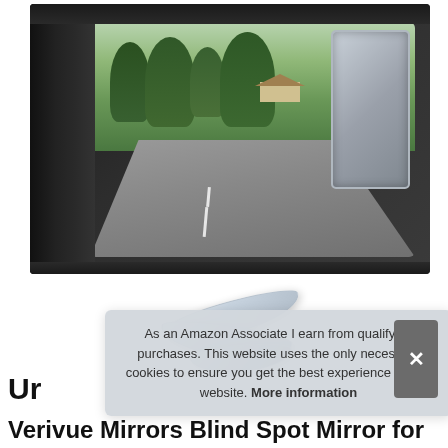[Figure (photo): Car side mirror with a small blind spot mirror attached, showing a winding road and rural landscape in the reflection. Below the main photo are two small standalone blind spot mirror glass pieces shown separately on white background.]
As an Amazon Associate I earn from qualifying purchases. This website uses the only necessary cookies to ensure you get the best experience on our website. More information
Ur
Verivue Mirrors Blind Spot Mirror for